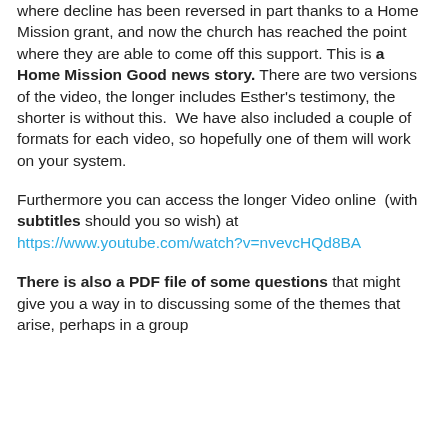where decline has been reversed in part thanks to a Home Mission grant, and now the church has reached the point where they are able to come off this support. This is a Home Mission Good news story. There are two versions of the video, the longer includes Esther's testimony, the shorter is without this.  We have also included a couple of formats for each video, so hopefully one of them will work on your system.
Furthermore you can access the longer Video online  (with subtitles should you so wish) at https://www.youtube.com/watch?v=nvevcHQd8BA
There is also a PDF file of some questions that might give you a way in to discussing some of the themes that arise, perhaps in a group